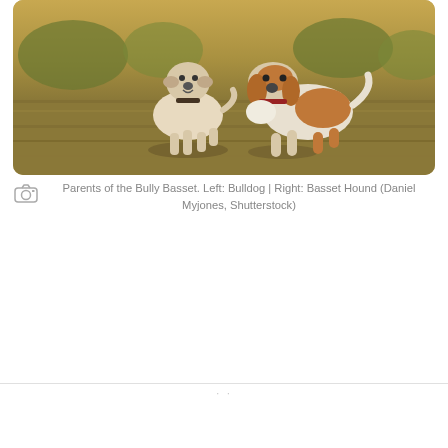[Figure (photo): Two dogs running together on a grassy field. Left dog is a Bulldog (white/cream), right dog is a Basset Hound (brown and white). Warm golden sunlight, outdoor park setting.]
Parents of the Bully Basset. Left: Bulldog | Right: Basset Hound (Daniel Myjones, Shutterstock)